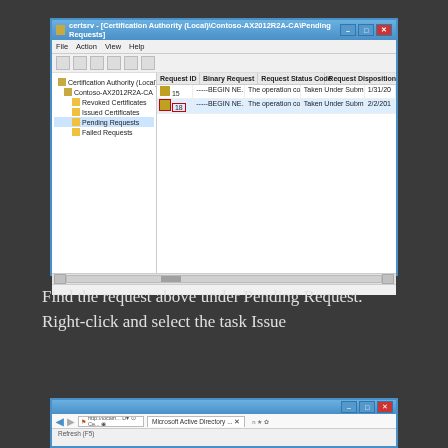[Figure (screenshot): Windows Server certsrv Certification Authority MMC console showing Pending Requests folder selected under Contoso-AX2012R2A-CA, with two pending request entries in the right pane (Request IDs 15 and 18). Request ID 18 is highlighted with a red rectangle. Columns: Request ID, Binary Request, Request Status Code, Request Disposition Message, Request date.]
Find the request above under Pending Request. Right-click and select the task Issue
[Figure (screenshot): Bottom portion of a Microsoft Active Directory web page in Internet Explorer, showing navigation toolbar with back button, address bar showing local address, and a tab labeled 'Microsoft Active Directory ...' with Refresh (F5) below.]